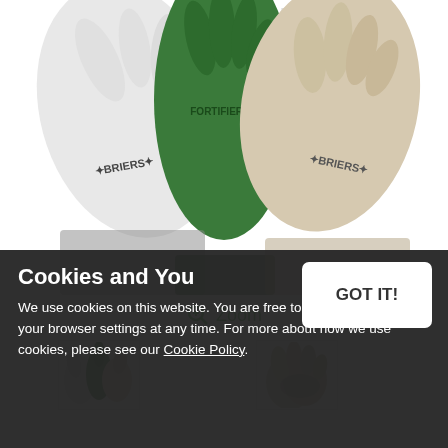[Figure (photo): Three gardening gloves (white, green, beige) with 'Briers' branding text, shown from above on white background]
Zoom
[Figure (photo): Thumbnail 1: Three Briers gardening gloves in white, green, beige]
[Figure (photo): Thumbnail 2: Single pair of Briers gloves in beige/grey]
Our Price: £14.99
Earn 14 Loyalty Points
Cookies and You
We use cookies on this website. You are free to manage these via your browser settings at any time. For more about how we use cookies, please see our Cookie Policy.
Brand: Briers
Style: Bamboo Gardening Gloves
Type: Gardening Gloves